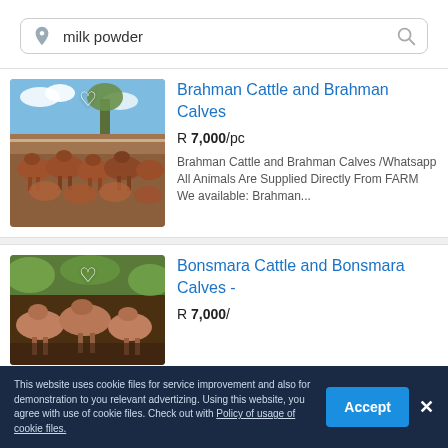[Figure (screenshot): Search bar with location pin icon, text 'milk powder', and search magnifier icon]
[Figure (photo): Photo of a herd of Brahman cattle standing in a farm enclosure with trees in background]
Brahman Cattle and Brahman Calves
R 7,000/pc
Brahman Cattle and Brahman Calves /Whatsapp All Animals Are Supplied Directly From FARM We available: Brahman...
[Figure (photo): Photo of Bonsmara cattle (pinkish-brown) standing in a muddy farm area]
Bonsmara Cattle and Bonsmara Calves -
R 7,000/
This website uses cookie files for service improvement and also for demonstration to you relevant advertizing. Using this website, you agree with use of cookie files. Check out with Policy of usage of cookie files.
Accept